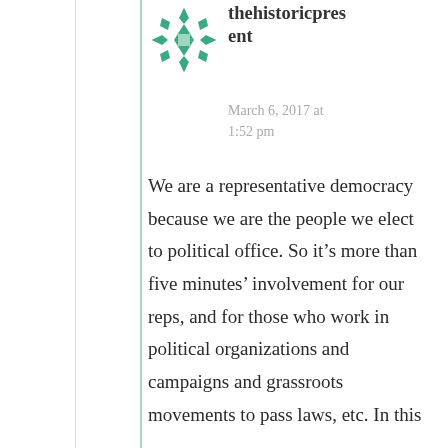[Figure (illustration): Green decorative snowflake/quilt pattern avatar icon for user thehistoricpresent]
thehistoricpresent
March 6, 2017 at 1:52 pm
We are a representative democracy because we are the people we elect to political office. So it’s more than five minutes’ involvement for our reps, and for those who work in political organizations and campaigns and grassroots movements to pass laws, etc. In this